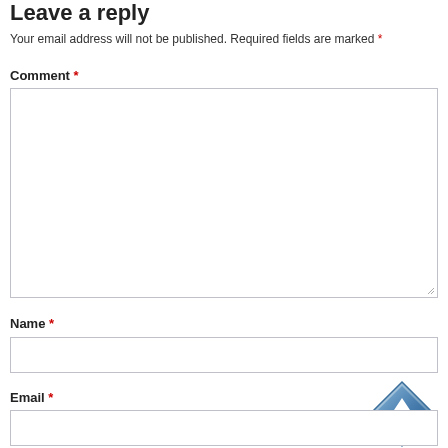Leave a reply
Your email address will not be published. Required fields are marked *
Comment *
[Figure (screenshot): Empty comment textarea input box with resize handle in bottom-right corner]
Name *
[Figure (screenshot): Empty name text input box]
[Figure (illustration): Back to top button: a blue diamond-shaped icon with an upward white arrow, and 'Back to top' text below]
Email *
[Figure (screenshot): Empty email text input box]